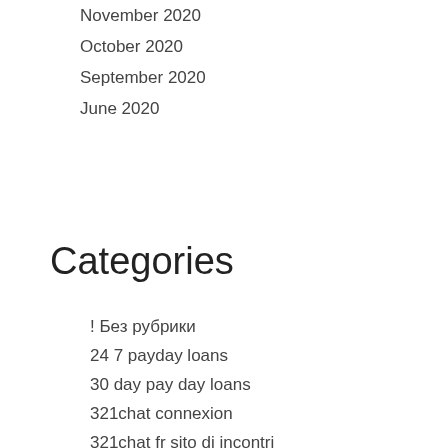November 2020
October 2020
September 2020
June 2020
Categories
! Без рубрики
24 7 payday loans
30 day pay day loans
321chat connexion
321chat fr sito di incontri
321chat review
321chat sign in
321chat-overzicht Review
420 Dating m?chte eine ?berpr?fung der Website
420 Dating review
420 dating reviews